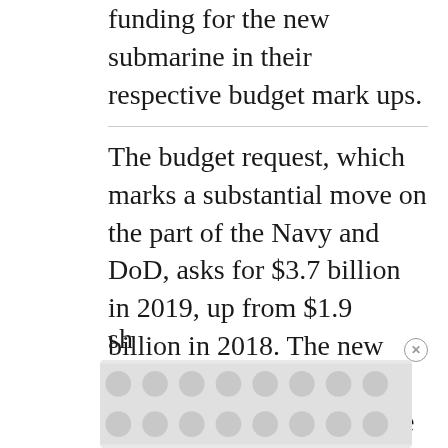funding for the new submarine in their respective budget mark ups.
The budget request, which marks a substantial move on the part of the Navy and DoD, asks for $3.7 billion in 2019, up from $1.9 billion in 2018. The new budget effort is quite significant, given that there has been a chorus of concern in recent years that there would not be enough money to fund development of the new submarines, without devastating the Navy shipbuilding budget.